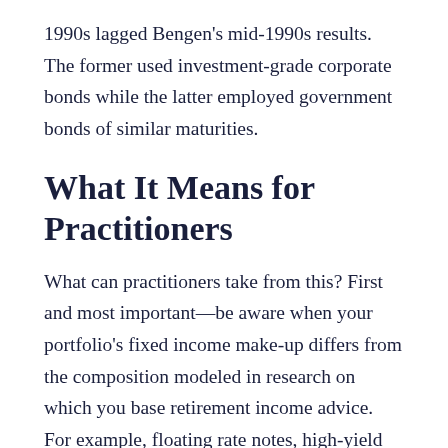1990s lagged Bengen's mid-1990s results. The former used investment-grade corporate bonds while the latter employed government bonds of similar maturities.
What It Means for Practitioners
What can practitioners take from this? First and most important—be aware when your portfolio's fixed income make-up differs from the composition modeled in research on which you base retirement income advice. For example, floating rate notes, high-yield bonds...